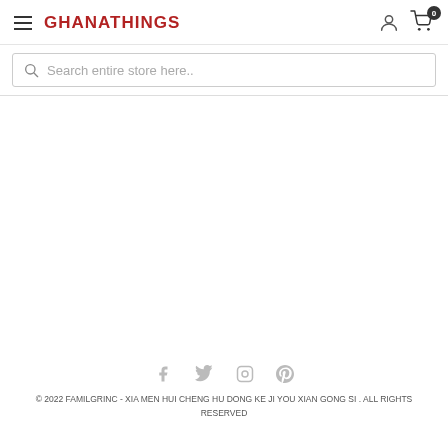GHANATHINGS
Search entire store here..
© 2022 FAMILGRINC - XIA MEN HUI CHENG HU DONG KE JI YOU XIAN GONG SI . ALL RIGHTS RESERVED